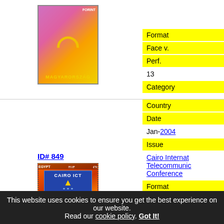[Figure (photo): Hungarian postage stamp with spiral swirl design in orange and yellow on purple/pink background, text MAGYARORSZÁG and FORINT]
| Field | Value |
| --- | --- |
| Format |  |
| Face v. |  |
| Perf. | 13 |
| Category |  |
ID# 849
[Figure (photo): Egyptian postage stamp for Cairo ICT conference, showing pyramid logo on blue background with red/orange background, 30 pt denomination, text EGYPT CAIRO ICT The Next Generation]
| Field | Value |
| --- | --- |
| Country |  |
| Date | Jan-2004 |
| Issue | Cairo International Telecommunication Conference |
| Format |  |
| Face v. |  |
| Category |  |
This website uses cookies to ensure you get the best experience on our website. Read our cookie policy. Got It!